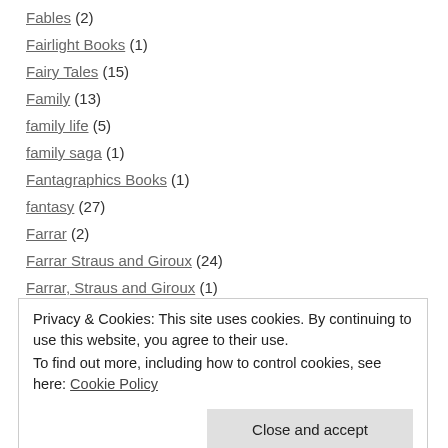Fables (2)
Fairlight Books (1)
Fairy Tales (15)
Family (13)
family life (5)
family saga (1)
Fantagraphics Books (1)
fantasy (27)
Farrar (2)
Farrar Straus and Giroux (24)
Farrar, Straus and Giroux (1)
Featherproof Books (4)
February 2016 (5)
Privacy & Cookies: This site uses cookies. By continuing to use this website, you agree to their use.
To find out more, including how to control cookies, see here: Cookie Policy
February 2021 Reads (7)